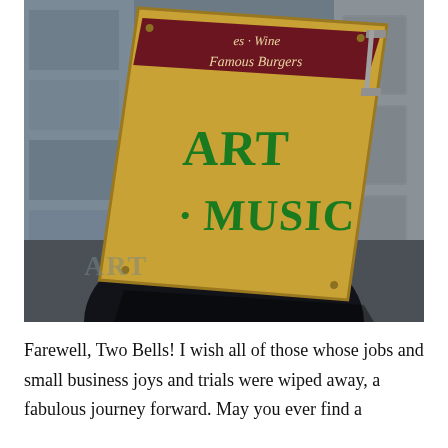[Figure (photo): A photograph of a vintage yellow sign mounted on a brick/concrete wall. The sign has a dark maroon banner at the top with white italic text reading 'Famous Wine' and 'Famous Burgers', and below in large green bold letters reads 'ART • MUSIC'. The photo is taken at an angle looking up at the sign.]
Farewell, Two Bells! I wish all of those whose jobs and small business joys and trials were wiped away, a fabulous journey forward. May you ever find a